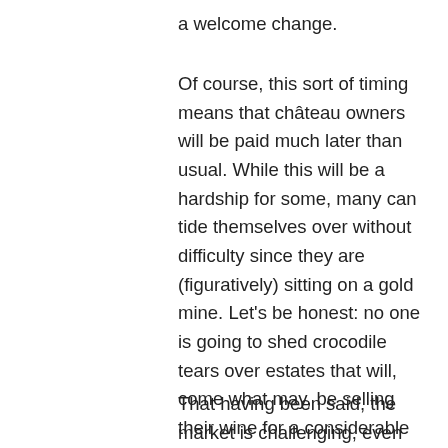a welcome change.
Of course, this sort of timing means that château owners will be paid much later than usual. While this will be a hardship for some, many can tide themselves over without difficulty since they are (figuratively) sitting on a gold mine. Let's be honest: no one is going to shed crocodile tears over estates that will, come what may, be selling their wine for a considerable amount.
That having been said, the market is challenging, even for the great growths,